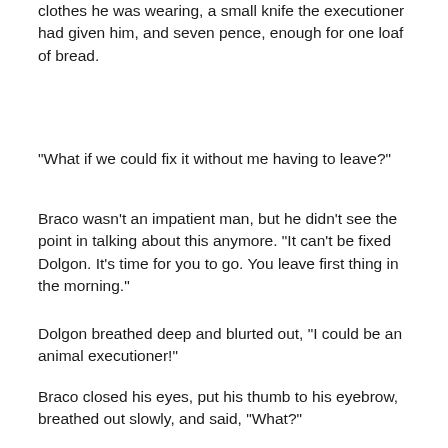clothes he was wearing, a small knife the executioner had given him, and seven pence, enough for one loaf of bread.
"What if we could fix it without me having to leave?"
Braco wasn't an impatient man, but he didn't see the point in talking about this anymore. "It can't be fixed Dolgon. It's time for you to go. You leave first thing in the morning."
Dolgon breathed deep and blurted out, "I could be an animal executioner!"
Braco closed his eyes, put his thumb to his eyebrow, breathed out slowly, and said, "What?"
- - - - - - -
It's an odd story. I also didn't use much in the way of dialogue attribution, where you say who's saying what. I think it basically